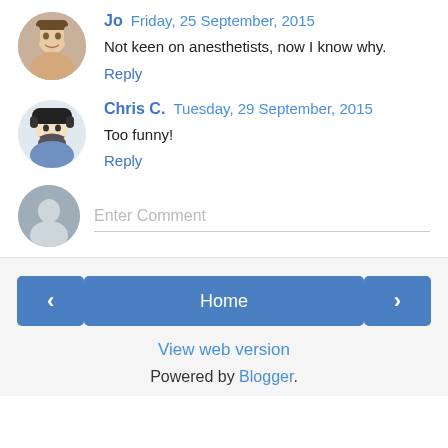Jo  Friday, 25 September, 2015
Not keen on anesthetists, now I know why.
Reply
Chris C.  Tuesday, 29 September, 2015
Too funny!
Reply
Enter Comment
Home
View web version
Powered by Blogger.